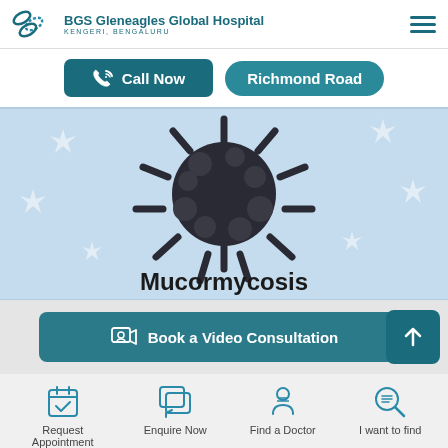BGS Gleneagles Global Hospital KENGERI, BENGALURU
[Figure (screenshot): Hospital website screenshot showing Call Now and Richmond Road buttons, a Mucormycosis banner image with a dark virus illustration on light blue background, Book a Video Consultation button, and bottom navigation icons for Request Appointment, Enquire Now, Find a Doctor, I want to find]
Call Now
Richmond Road
Mucormycosis
Book a Video Consultation
Request Appointment
Enquire Now
Find a Doctor
I want to find